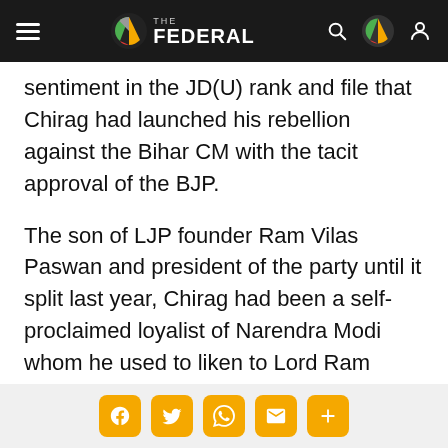The Federal
sentiment in the JD(U) rank and file that Chirag had launched his rebellion against the Bihar CM with the tacit approval of the BJP.
The son of LJP founder Ram Vilas Paswan and president of the party until it split last year, Chirag had been a self-proclaimed loyalist of Narendra Modi whom he used to liken to Lord Ram while comparing himself to Hanuman.
Share buttons: Facebook, Twitter, WhatsApp, Email, More